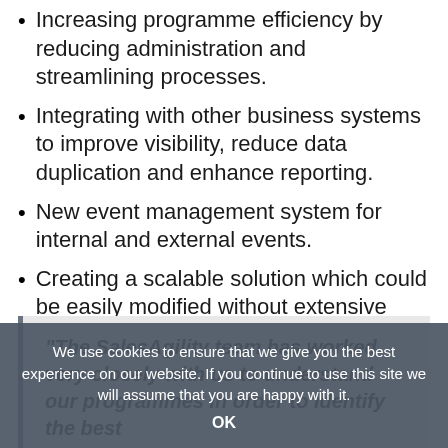Increasing programme efficiency by reducing administration and streamlining processes.
Integrating with other business systems to improve visibility, reduce data duplication and enhance reporting.
New event management system for internal and external events.
Creating a scalable solution which could be easily modified without extensive reconfiguration or development.
"The SalesAgility team has worked very closely with us to understand our programmes in order to identify the best
We use cookies to ensure that we give you the best experience on our website. If you continue to use this site we will assume that you are happy with it.
OK